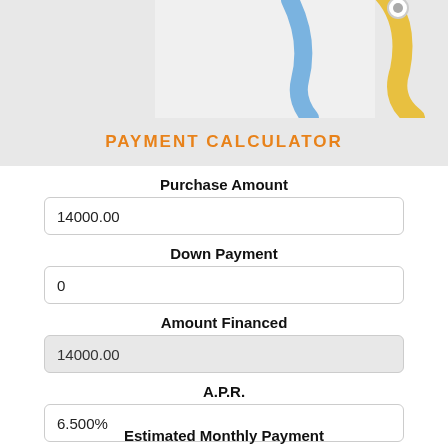[Figure (map): Partial map/illustration visible at top of page with blue and yellow markings on a light gray background]
PAYMENT CALCULATOR
Purchase Amount
14000.00
Down Payment
0
Amount Financed
14000.00
A.P.R.
6.500%
Term
12 Months (1 Year)
Estimated Monthly Payment